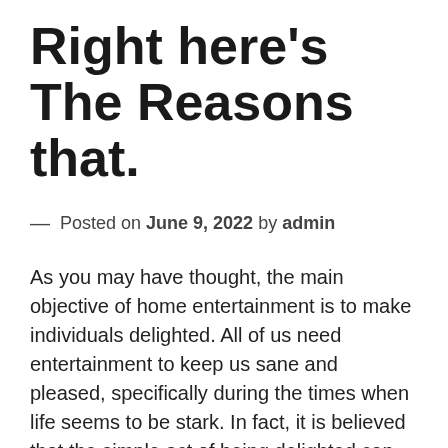Right here's The Reasons that.
— Posted on June 9, 2022 by admin
As you may have thought, the main objective of home entertainment is to make individuals delighted. All of us need entertainment to keep us sane and pleased, specifically during the times when life seems to be stark. In fact, it is believed that the simple act of being delighted can maintain our psychological as well as psychological health. In addition to that, it can bring us closer with each other as a family members. Allow us look at the